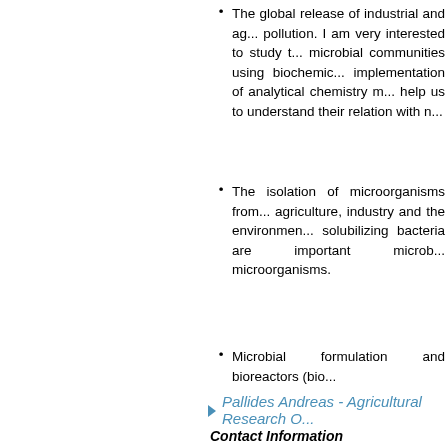The global release of industrial and agricultural pollution. I am very interested to study the microbial communities using biochemical implementation of analytical chemistry methods to help us to understand their relation with ...
The isolation of microorganisms from agriculture, industry and the environment ... solubilizing bacteria are important microb... microorganisms.
Microbial formulation and bioreactors (bio...
Pallides Andreas - Agricultural Research C...
Contact Information
Tel.: +357-22403130
Email: pallides@ari.gov.cy
Research Interests
Breeding durum wheat, bread wheat, trit...
Legume Genetics
Breeding Winemaking Vines
Effect of recycled water in the expression...